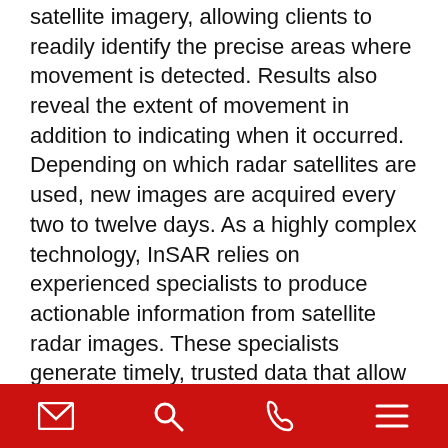satellite imagery, allowing clients to readily identify the precise areas where movement is detected. Results also reveal the extent of movement in addition to indicating when it occurred. Depending on which radar satellites are used, new images are acquired every two to twelve days. As a highly complex technology, InSAR relies on experienced specialists to produce actionable information from satellite radar images. These specialists generate timely, trusted data that allow clients to make risk-informed decisions.
One significant advantage of InSAR over optical satellites is that radar cuts through rain and clouds while remaining effective at night. Although the atmosphere can be a data contaminant, advanced processing techniques allow specialists to remove atmospheric signals and other contaminants from the data. Due to these strengths, InSAR has 98% image acquisition reliability. Data collected by InSAR is highly precise; it can detect displacement as small as 1 to 2 mm over a
[email icon] [search icon] [phone icon] [menu icon]